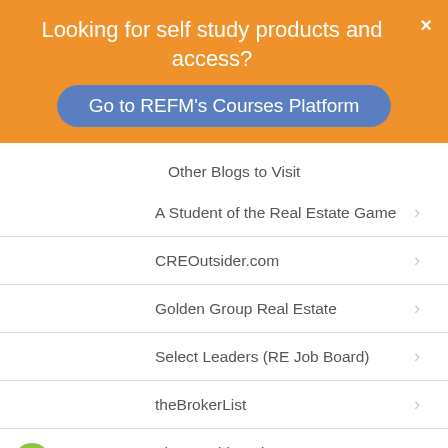Looking for self study products and access?
Go to REFM's Courses Platform
Other Blogs to Visit
A Student of the Real Estate Game
CREOutsider.com
Golden Group Real Estate
Select Leaders (RE Job Board)
theBrokerList
The Fundrise Blog